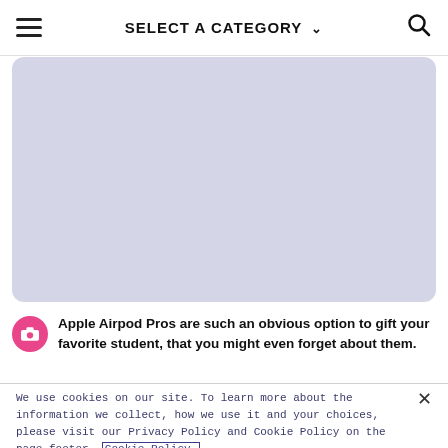SELECT A CATEGORY
[Figure (photo): Large image placeholder with light lavender/purple-grey background, rounded corners]
Apple Airpod Pros are such an obvious option to gift your favorite student, that you might even forget about them.
We use cookies on our site. To learn more about the information we collect, how we use it and your choices, please visit our Privacy Policy and Cookie Policy on the page footer. Cookie Policy.